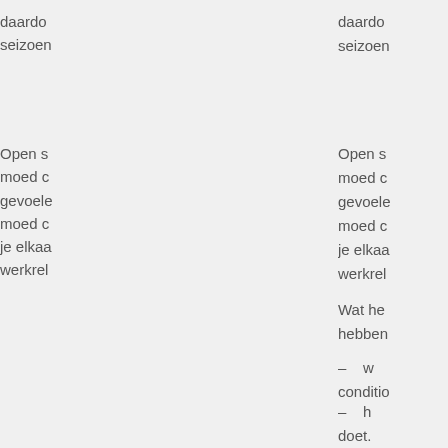daardo seizoen
Open s moed c gevoele moed c je elkaa werkrel
Wat he hebben
– w conditio
– h doet.
En als : ook em